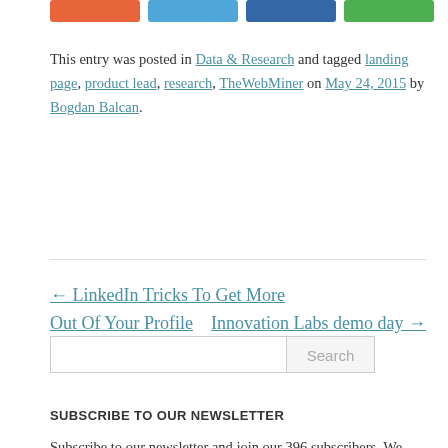[Figure (other): Social sharing buttons: orange, light blue, dark blue, green]
This entry was posted in Data & Research and tagged landing page, product lead, research, TheWebMiner on May 24, 2015 by Bogdan Balcan.
← LinkedIn Tricks To Get More Out Of Your Profile    Innovation Labs demo day →
Search input and Search button
SUBSCRIBE TO OUR NEWSLETTER
Subscribe to our newsletter and join our 396 subscribers. We